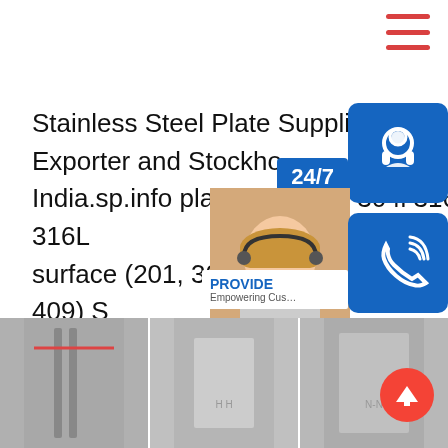[Figure (screenshot): Hamburger/navigation menu icon with three red horizontal lines in top right corner]
Stainless Steel Plate Supplier, Exporter and Stockhoi... India.sp.info plates 201 304 304l 316 316L... surface (201, 304, 316L, 310S, 430, 409) S... Plate Factory Price 201 304 304L 316 316... 347 Stainless Steel Sheet with Surface 2b... Checked Anti-Slip Tread US $899-3,000 / T... Stainless Steel Plate Pipe Barsp.info 한국 한국 한국. 한국 한국한국한국 한국 Translate this page한국 한국 한국 한국 한국 한국. 한국한국한국 한국한국 한국 한국한국한국 한국 (304) 한국 한국 한국 한국 한국한국한국 한국 (304) 한국한국한국 한국 한국한국한국 한국 kr.Made-in-China
[Figure (infographic): Customer support overlay panel with 24/7 label, headset icon, phone icon, Skype icon, woman wearing headset, PROVIDE Empowering Customers text, and online live button]
[Figure (photo): Bottom section showing stainless steel plates/sheets in a warehouse or factory setting, divided into three photo segments]
[Figure (other): Red circular back-to-top button with upward arrow]